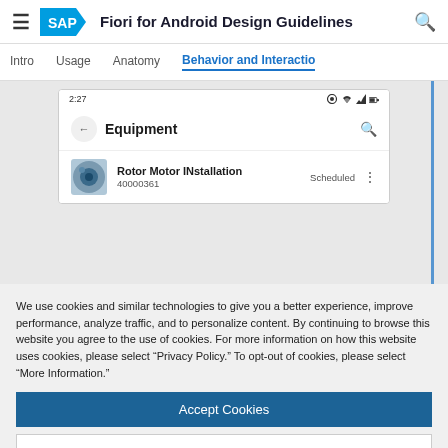SAP Fiori for Android Design Guidelines
Behavior and Interaction
[Figure (screenshot): Android phone screen showing Equipment app list with 'Rotor Motor INstallation' item, status bar showing 2:27, back arrow, search icon]
We use cookies and similar technologies to give you a better experience, improve performance, analyze traffic, and to personalize content. By continuing to browse this website you agree to the use of cookies. For more information on how this website uses cookies, please select “Privacy Policy.” To opt-out of cookies, please select “More Information.”
Accept Cookies
More Information
Privacy Policy | Powered by: TrustArc